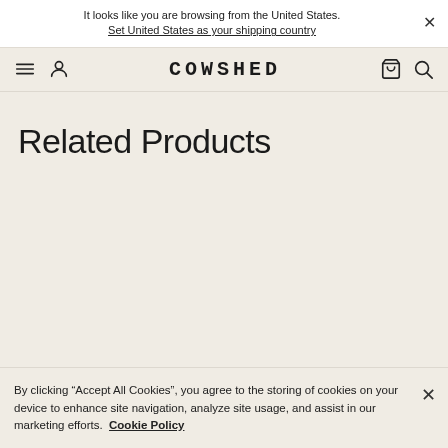It looks like you are browsing from the United States. Set United States as your shipping country
COWSHED
Related Products
By clicking “Accept All Cookies”, you agree to the storing of cookies on your device to enhance site navigation, analyze site usage, and assist in our marketing efforts. Cookie Policy